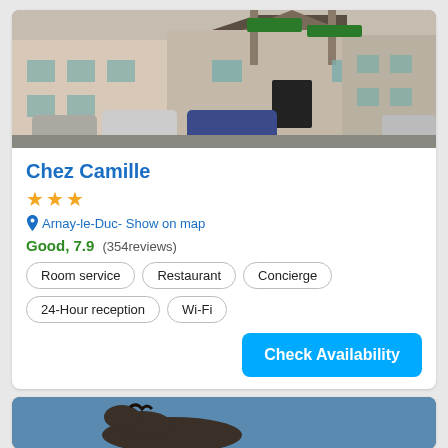[Figure (photo): Photo of Chez Camille hotel exterior — a French village building with teal shutters and a wooden entrance porch, cars parked in front, road signs visible]
Chez Camille
★★★
Arnay-le-Duc- Show on map
Good, 7.9 (354reviews)
Room service
Restaurant
Concierge
24-Hour reception
Wi-Fi
Check Availability
[Figure (photo): Bottom of page: partial photo of a second hotel listing, showing an animal (possibly a horse) against a blue sky]